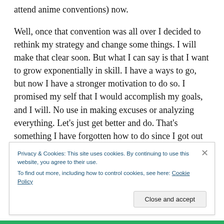attend anime conventions) now.
Well, once that convention was all over I decided to rethink my strategy and change some things. I will make that clear soon. But what I can say is that I want to grow exponentially in skill. I have a ways to go, but now I have a stronger motivation to do so. I promised my self that I would accomplish my goals, and I will. No use in making excuses or analyzing everything. Let's just get better and do. That's something I have forgotten how to do since I got out of high school. It's time I bring back that type of discipline into my life.
Privacy & Cookies: This site uses cookies. By continuing to use this website, you agree to their use.
To find out more, including how to control cookies, see here: Cookie Policy